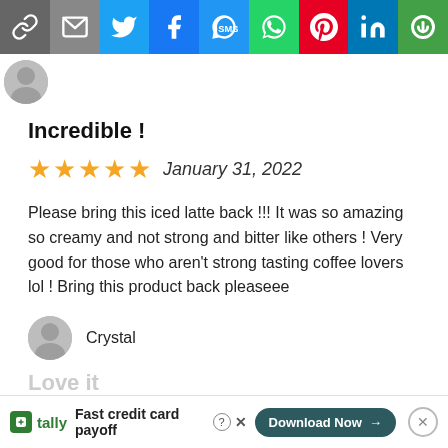[Figure (other): Social share toolbar with icons: link, email, Twitter, Facebook, SMS, WhatsApp, Pinterest, LinkedIn, more]
Incredible !
★★★★★  January 31, 2022
Please bring this iced latte back !!! It was so amazing so creamy and not strong and bitter like others ! Very good for those who aren't strong tasting coffee lovers lol ! Bring this product back pleaseee
Crystal
Love it
[Figure (other): Tally advertisement banner: Fast credit card payoff, Download Now button]